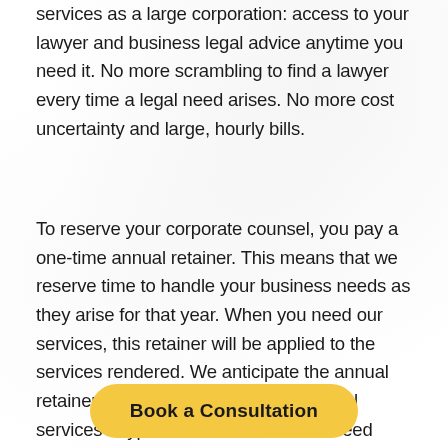services as a large corporation: access to your lawyer and business legal advice anytime you need it. No more scrambling to find a lawyer every time a legal need arises. No more cost uncertainty and large, hourly bills.
To reserve your corporate counsel, you pay a one-time annual retainer. This means that we reserve time to handle your business needs as they arise for that year. When you need our services, this retainer will be applied to the services rendered. We anticipate the annual retainer will cover most or all of the legal services a typical small business will need throughout the year.
Book a Consultation